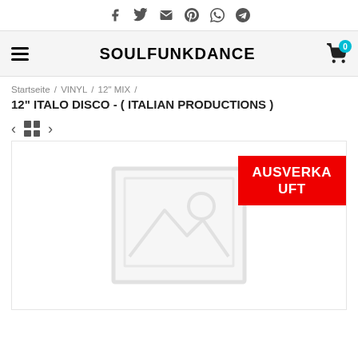Social share icons: Facebook, Twitter, Email, Pinterest, WhatsApp, Telegram
SOULFUNKDANCE — navigation header with hamburger menu and cart (0)
Startseite / VINYL / 12" MIX /
12" ITALO DISCO - ( ITALIAN PRODUCTIONS )
[Figure (screenshot): Product placeholder image with AUSVERKAUFT (sold out) badge in red]
AUSVERKAUFT